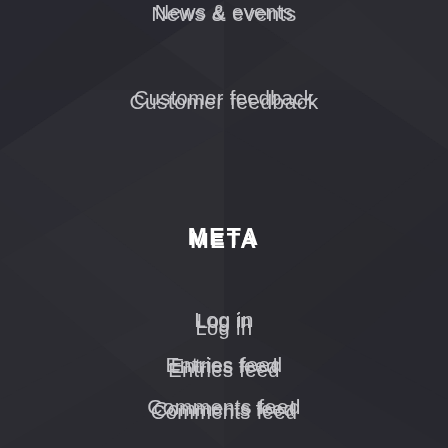News & events
Customer feedback
META
Log in
Entries feed
Comments feed
WordPress.org
PAGES
About Us